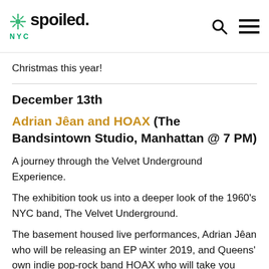spoiled. NYC
Christmas this year!
December 13th
Adrian Jêan and HOAX (The Bandsintown Studio, Manhattan @ 7 PM)
A journey through the Velvet Underground Experience.
The exhibition took us into a deeper look of the 1960's NYC band, The Velvet Underground.
The basement housed live performances, Adrian Jêan who will be releasing an EP winter 2019, and Queens' own indie pop-rock band HOAX who will take you back to the streets of